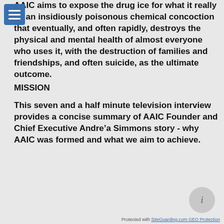AAIC aims to expose the drug ice for what it really is, an insidiously poisonous chemical concoction that eventually, and often rapidly, destroys the physical and mental health of almost everyone who uses it, with the destruction of families and friendships, and often suicide, as the ultimate outcome.
MISSION
This seven and a half minute television interview provides a concise summary of AAIC Founder and Chief Executive Andre’a Simmons story - why AAIC was formed and what we aim to achieve.
Protected with SiteGuarding.com GEO Protection